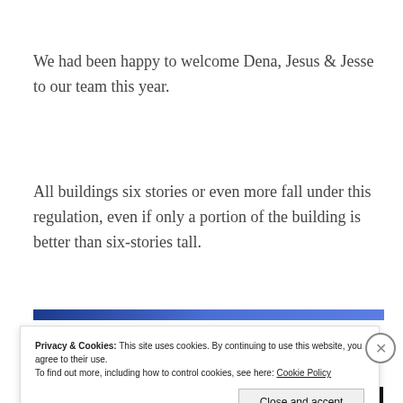We had been happy to welcome Dena, Jesus & Jesse to our team this year.
All buildings six stories or even more fall under this regulation, even if only a portion of the building is better than six-stories tall.
Privacy & Cookies: This site uses cookies. By continuing to use this website, you agree to their use.
To find out more, including how to control cookies, see here: Cookie Policy
Close and accept